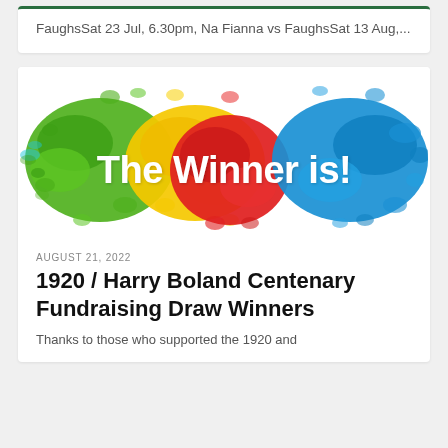FaughsSat 23 Jul, 6.30pm, Na Fianna vs FaughsSat 13 Aug,...
[Figure (illustration): Colorful paint splash graphic with text 'The Winner is!' in white bold letters on a background of green, yellow, red, and blue paint splashes.]
AUGUST 21, 2022
1920 / Harry Boland Centenary Fundraising Draw Winners
Thanks to those who supported the 1920 and